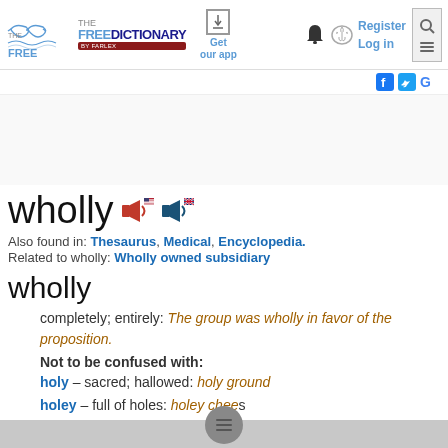THE FREE DICTIONARY BY FARLEX — Get our app — Register Log in
wholly
Also found in: Thesaurus, Medical, Encyclopedia.
Related to wholly: Wholly owned subsidiary
wholly
completely; entirely: The group was wholly in favor of the proposition.
Not to be confused with:
holy – sacred; hallowed: holy ground
holey – full of holes: holey chee…